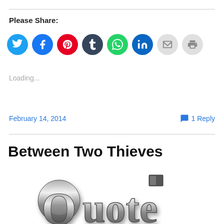Please Share:
[Figure (infographic): Row of social media share icon buttons: Twitter (cyan), Facebook (blue), Pinterest (red), Tumblr (dark navy), WhatsApp (green), LinkedIn (dark blue), Email (light gray), Print (light gray)]
Loading...
February 14, 2014
1 Reply
Between Two Thieves
[Figure (illustration): 3D metallic chrome-style word 'Quote' with bold stylized letters in dark gray/silver, lower portion visible]